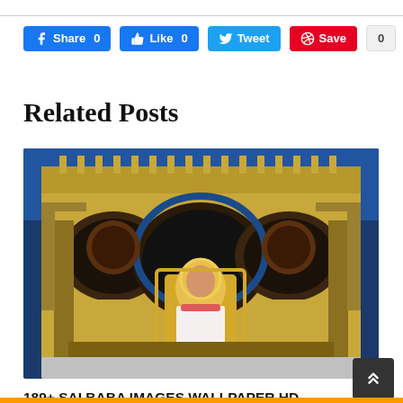[Figure (screenshot): Social share buttons: Facebook Share 0, Like 0, Tweet, Save, 0]
Related Posts
[Figure (photo): Sai Baba temple interior with golden decorations, arches, and deity statue]
189+ SAI BABA IMAGES WALLPAPER HD DOWNLOAD